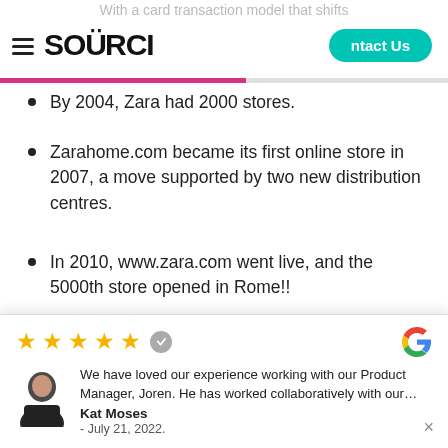SOURCI — Contact Us navigation bar
By 2004, Zara had 2000 stores.
Zarahome.com became its first online store in 2007, a move supported by two new distribution centres.
In 2010, www.zara.com went live, and the 5000th store opened in Rome!!
2014 saw the Cabanillas (Spain) logistics centre open.
[Figure (screenshot): Google review widget popup showing 5 stars, verified badge, Google G logo, reviewer avatar, review text: 'We have loved our experience working with our Product Manager, Joren. He has worked collaboratively with our...' — Kat Moses, July 21, 2022.]